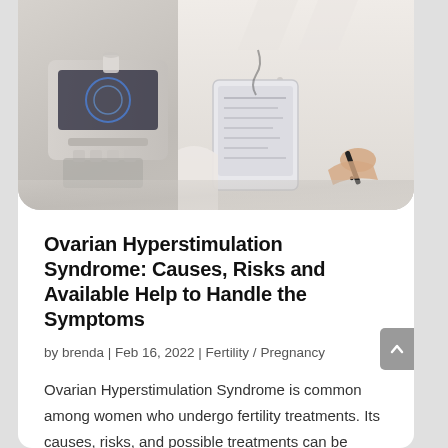[Figure (photo): Doctor in white coat holding a tablet/clipboard with medical ultrasound equipment visible in the background]
Ovarian Hyperstimulation Syndrome: Causes, Risks and Available Help to Handle the Symptoms
by brenda | Feb 16, 2022 | Fertility / Pregnancy
Ovarian Hyperstimulation Syndrome is common among women who undergo fertility treatments. Its causes, risks, and possible treatments can be better